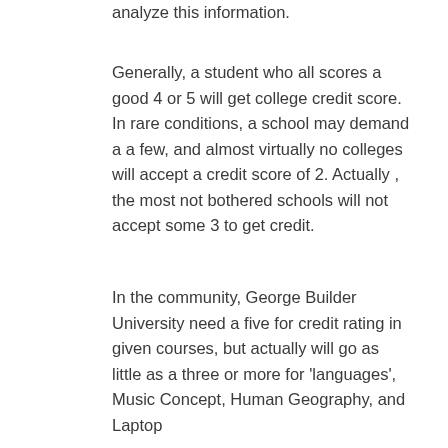analyze this information.
Generally, a student who all scores a good 4 or 5 will get college credit score. In rare conditions, a school may demand a a few, and almost virtually no colleges will accept a credit score of 2. Actually , the most not bothered schools will not accept some 3 to get credit.
In the community, George Builder University need a five for credit rating in given courses, but actually will go as little as a three or more for 'languages', Music Concept, Human Geography, and Laptop